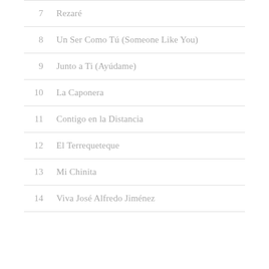7  Rezaré
8  Un Ser Como Tú (Someone Like You)
9  Junto a Ti (Ayúdame)
10  La Caponera
11  Contigo en la Distancia
12  El Terrequeteque
13  Mi Chinita
14  Viva José Alfredo Jiménez